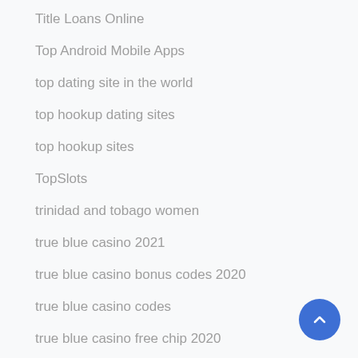Title Loans Online
Top Android Mobile Apps
top dating site in the world
top hookup dating sites
top hookup sites
TopSlots
trinidad and tobago women
true blue casino 2021
true blue casino bonus codes 2020
true blue casino codes
true blue casino free chip 2020
true blue casino free chip codes